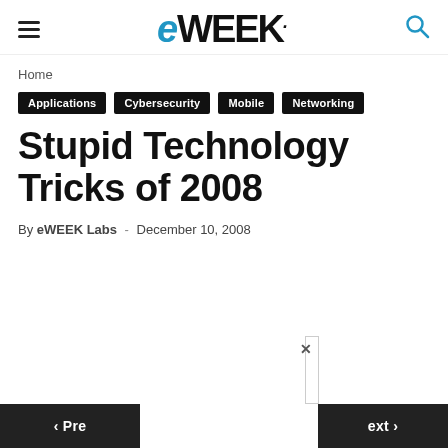eWEEK
Home
Applications
Cybersecurity
Mobile
Networking
Stupid Technology Tricks of 2008
By eWEEK Labs - December 10, 2008